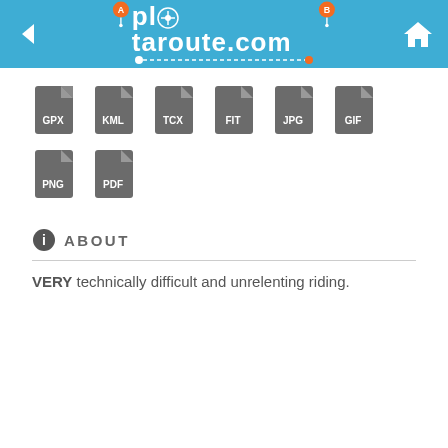plotaroute.com
[Figure (infographic): File format icons: GPX, KML, TCX, FIT, JPG, GIF, PNG, PDF]
ABOUT
VERY technically difficult and unrelenting riding.